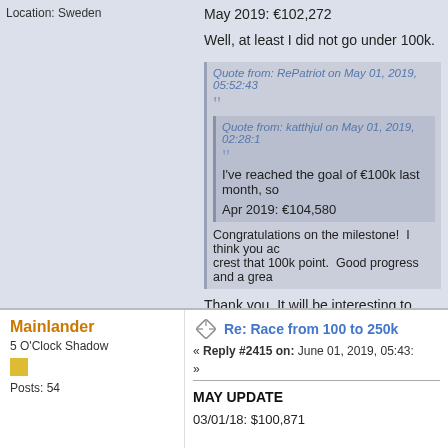Location: Sweden
May 2019: €102,272
Well, at least I did not go under 100k.
Quote from: RePatriot on May 01, 2019, 05:52:43
Quote from: katthjul on May 01, 2019, 02:28:1
I've reached the goal of €100k last month, so
Apr 2019: €104,580
Congratulations on the milestone!  I think you ac crest that 100k point.  Good progress and a grea
Thank you. It will be interesting to have th
Mainlander
5 O'Clock Shadow
Posts: 54
Re: Race from 100 to 250k
« Reply #2415 on: June 01, 2019, 05:43:
MAY UPDATE
03/01/18: $100,871